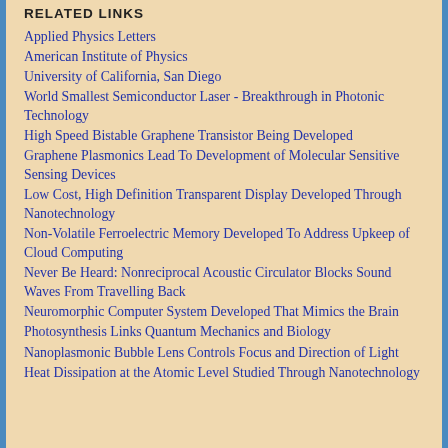RELATED LINKS
Applied Physics Letters
American Institute of Physics
University of California, San Diego
World Smallest Semiconductor Laser - Breakthrough in Photonic Technology
High Speed Bistable Graphene Transistor Being Developed
Graphene Plasmonics Lead To Development of Molecular Sensitive Sensing Devices
Low Cost, High Definition Transparent Display Developed Through Nanotechnology
Non-Volatile Ferroelectric Memory Developed To Address Upkeep of Cloud Computing
Never Be Heard: Nonreciprocal Acoustic Circulator Blocks Sound Waves From Travelling Back
Neuromorphic Computer System Developed That Mimics the Brain
Photosynthesis Links Quantum Mechanics and Biology
Nanoplasmonic Bubble Lens Controls Focus and Direction of Light
Heat Dissipation at the Atomic Level Studied Through Nanotechnology